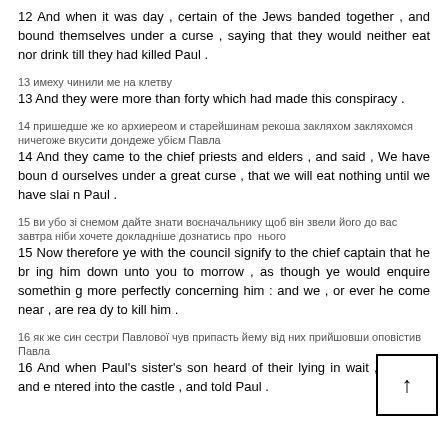12 And when it was day , certain of the Jews banded together , and bound themselves under a curse , saying that they would neither eat nor drink till they had killed Paul .
13 [foreign text] 13 And they were more than forty which had made this conspiracy .
14 [foreign text] 14 And they came to the chief priests and elders , and said , We have bound ourselves under a great curse , that we will eat nothing until we have slain Paul .
15 [foreign text] 15 Now therefore ye with the council signify to the chief captain that he bring him down unto you to morrow , as though ye would enquire something more perfectly concerning him : and we , or ever he come near , are ready to kill him .
16 [foreign text] 16 And when Paul's sister's son heard of their lying in wait , he went and entered into the castle , and told Paul .